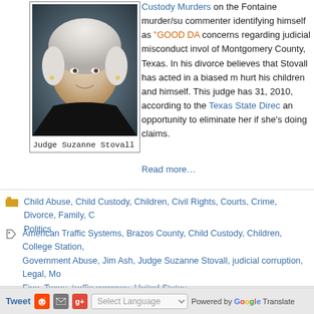[Figure (photo): Portrait photo of Judge Suzanne Stovall, an older woman with white hair, wearing a black outfit, against a blue-gray background]
Judge Suzanne Stovall
Custody Murders on the Fontaine murder/su commenter identifying himself as "GOOD DA concerns regarding judicial misconduct invol of Montgomery County, Texas. In his divorce believes that Stovall has acted in a biased m hurt his children and himself. This judge has 31, 2010, according to the Texas State Direc an opportunity to eliminate her if she's doing claims.
Read more…
Child Abuse, Child Custody, Children, Civil Rights, Courts, Crime, Divorce, Family, Politics
American Traffic Systems, Brazos County, Child Custody, Children, College Station, Government Abuse, Jim Ash, Judge Suzanne Stovall, judicial corruption, Legal, Mo Fine, Texas, traffic cameras, United States
Tweet  Select Language  Powered by Google Translate